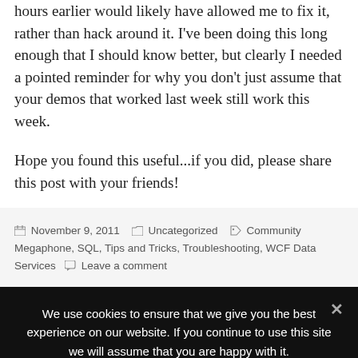hours earlier would likely have allowed me to fix it, rather than hack around it. I've been doing this long enough that I should know better, but clearly I needed a pointed reminder for why you don't just assume that your demos that worked last week still work this week.
Hope you found this useful...if you did, please share this post with your friends!
November 9, 2011   Uncategorized   Community Megaphone, SQL, Tips and Tricks, Troubleshooting, WCF Data Services   Leave a comment
We use cookies to ensure that we give you the best experience on our website. If you continue to use this site we will assume that you are happy with it.